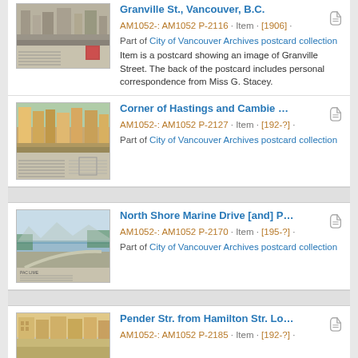Granville St., Vancouver, B.C. | AM1052-: AM1052 P-2116 · Item · [1906] · Part of City of Vancouver Archives postcard collection | Item is a postcard showing an image of Granville Street. The back of the postcard includes personal correspondence from Miss G. Stacey.
Corner of Hastings and Cambie … | AM1052-: AM1052 P-2127 · Item · [192-?] · Part of City of Vancouver Archives postcard collection
North Shore Marine Drive [and] P… | AM1052-: AM1052 P-2170 · Item · [195-?] · Part of City of Vancouver Archives postcard collection
Pender Str. from Hamilton Str. Lo… | AM1052-: AM1052 P-2185 · Item · [192-?]